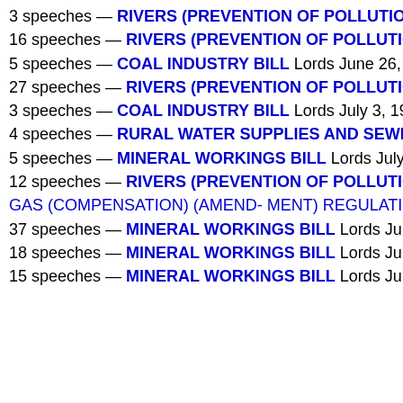3 speeches — RIVERS (PREVENTION OF POLLUTION) BIL...
16 speeches — RIVERS (PREVENTION OF POLLUTION) BI...
5 speeches — COAL INDUSTRY BILL Lords June 26, 1951
27 speeches — RIVERS (PREVENTION OF POLLUTION) BI...
3 speeches — COAL INDUSTRY BILL Lords July 3, 1951
4 speeches — RURAL WATER SUPPLIES AND SEWERAGE...
5 speeches — MINERAL WORKINGS BILL Lords July 10, 19...
12 speeches — RIVERS (PREVENTION OF POLLUTION) BI... GAS (COMPENSATION) (AMEND- MENT) REGULATIONS, 1...
37 speeches — MINERAL WORKINGS BILL Lords July 23, 1...
18 speeches — MINERAL WORKINGS BILL Lords July 26, 1...
15 speeches — MINERAL WORKINGS BILL Lords July 26, 1...